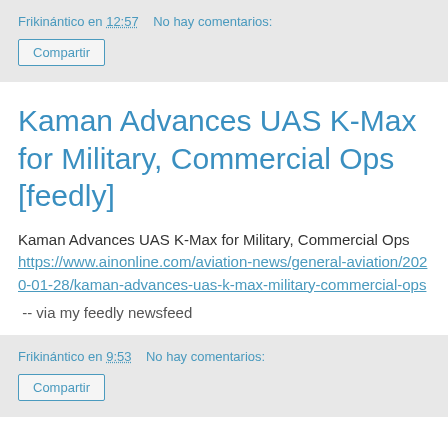Frikinático en 12:57    No hay comentarios:
Compartir
Kaman Advances UAS K-Max for Military, Commercial Ops [feedly]
Kaman Advances UAS K-Max for Military, Commercial Ops https://www.ainonline.com/aviation-news/general-aviation/2020-01-28/kaman-advances-uas-k-max-military-commercial-ops
-- via my feedly newsfeed
Frikinático en 9:53    No hay comentarios:
Compartir